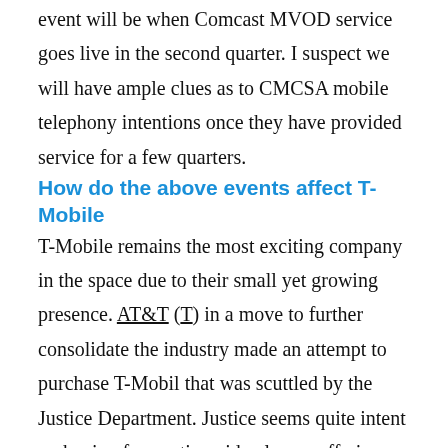event will be when Comcast MVOD service goes live in the second quarter. I suspect we will have ample clues as to CMCSA mobile telephony intentions once they have provided service for a few quarters.
How do the above events affect T-Mobile
T-Mobile remains the most exciting company in the space due to their small yet growing presence. AT&T (T) in a move to further consolidate the industry made an attempt to purchase T-Mobil that was scuttled by the Justice Department. Justice seems quite intent on having four nationwide players offering service, a change of administration will most likely not change the policy. T's failed attempt cost them a considerable break-up fee that has been used to further T-Mobile